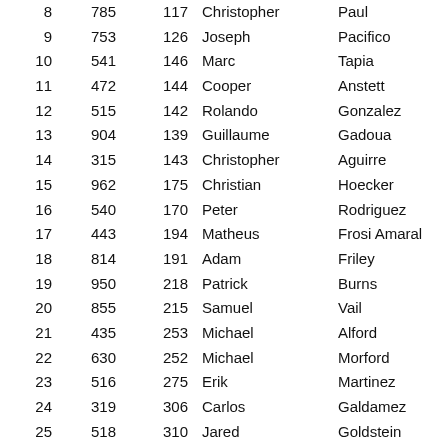| 8 | 785 | 117 | Christopher | Paul |
| 9 | 753 | 126 | Joseph | Pacifico |
| 10 | 541 | 146 | Marc | Tapia |
| 11 | 472 | 144 | Cooper | Anstett |
| 12 | 515 | 142 | Rolando | Gonzalez |
| 13 | 904 | 139 | Guillaume | Gadoua |
| 14 | 315 | 143 | Christopher | Aguirre |
| 15 | 962 | 175 | Christian | Hoecker |
| 16 | 540 | 170 | Peter | Rodriguez |
| 17 | 443 | 194 | Matheus | Frosi Amaral |
| 18 | 814 | 191 | Adam | Friley |
| 19 | 950 | 218 | Patrick | Burns |
| 20 | 855 | 215 | Samuel | Vail |
| 21 | 435 | 253 | Michael | Alford |
| 22 | 630 | 252 | Michael | Morford |
| 23 | 516 | 275 | Erik | Martinez |
| 24 | 319 | 306 | Carlos | Galdamez |
| 25 | 518 | 310 | Jared | Goldstein |
| 26 | 632 | 296 | Mauricio | Horna |
| 27 | 498 | 320 | Tanner | Leach |
| 28 | 730 | 329 | Joshua | Stull |